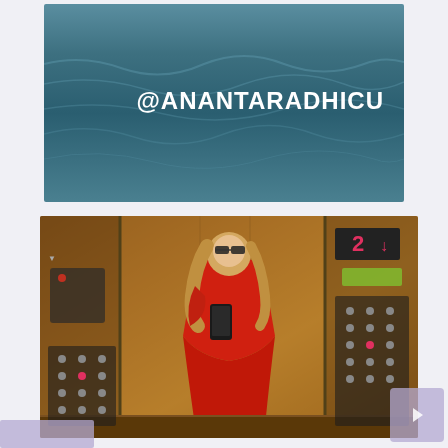[Figure (photo): Top image showing water/ocean surface with teal-blue color and white text overlay reading '@ANANTARADHICU']
[Figure (photo): Bottom image of a woman in a red satin dress taking a mirror selfie in an ornate elevator with gold/bronze paneling. She is wearing large sunglasses and holding a phone.]